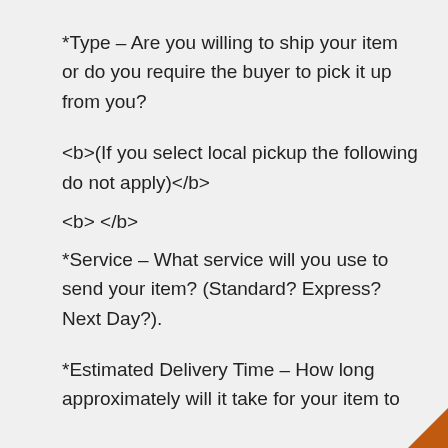*Type – Are you willing to ship your item or do you require the buyer to pick it up from you?
<b>(If you select local pickup the following do not apply)</b>
<b> </b>
*Service – What service will you use to send your item? (Standard? Express? Next Day?).
*Estimated Delivery Time – How long approximately will it take for your item to